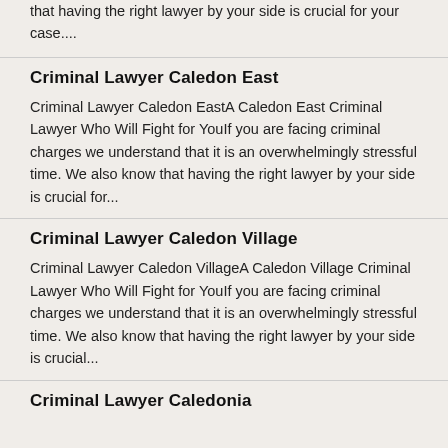that having the right lawyer by your side is crucial for your case....
Criminal Lawyer Caledon East
Criminal Lawyer Caledon EastA Caledon East Criminal Lawyer Who Will Fight for YouIf you are facing criminal charges we understand that it is an overwhelmingly stressful time. We also know that having the right lawyer by your side is crucial for...
Criminal Lawyer Caledon Village
Criminal Lawyer Caledon VillageA Caledon Village Criminal Lawyer Who Will Fight for YouIf you are facing criminal charges we understand that it is an overwhelmingly stressful time. We also know that having the right lawyer by your side is crucial...
Criminal Lawyer Caledonia